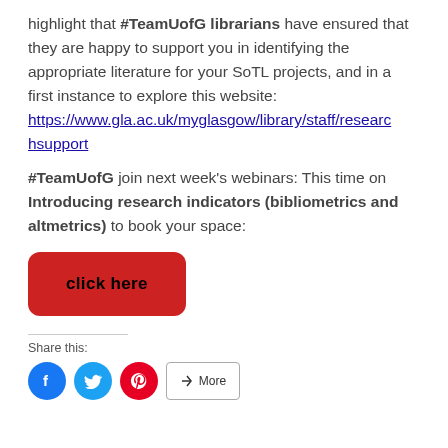highlight that #TeamUofG librarians have ensured that they are happy to support you in identifying the appropriate literature for your SoTL projects, and in a first instance to explore this website: https://www.gla.ac.uk/myglasgow/library/staff/researchsupport
#TeamUofG join next week's webinars: This time on Introducing research indicators (bibliometrics and altmetrics) to book your space:
[Figure (other): Red rounded rectangle button with bold text 'click here']
Share this:
[Figure (other): Social sharing icons: Facebook (blue circle), Twitter (light blue circle), Pinterest (red circle), and a 'More' button]